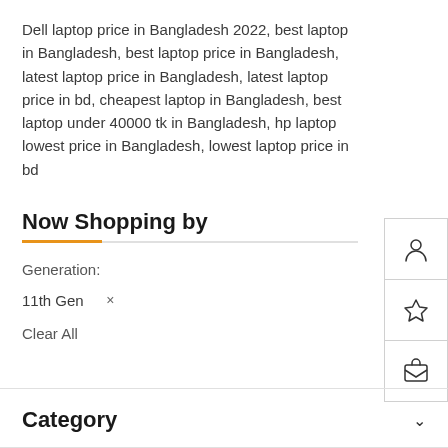Dell laptop price in Bangladesh 2022, best laptop in Bangladesh, best laptop price in Bangladesh, latest laptop price in Bangladesh, latest laptop price in bd, cheapest laptop in Bangladesh, best laptop under 40000 tk in Bangladesh, hp laptop lowest price in Bangladesh, lowest laptop price in bd
Now Shopping by
Generation:
11th Gen  ×
Clear All
Category